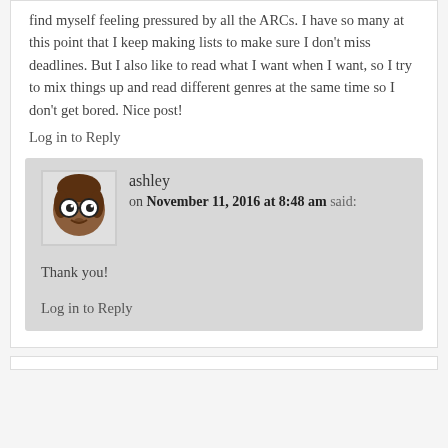find myself feeling pressured by all the ARCs. I have so many at this point that I keep making lists to make sure I don't miss deadlines. But I also like to read what I want when I want, so I try to mix things up and read different genres at the same time so I don't get bored. Nice post!
Log in to Reply
ashley
on November 11, 2016 at 8:48 am said:
Thank you!
Log in to Reply